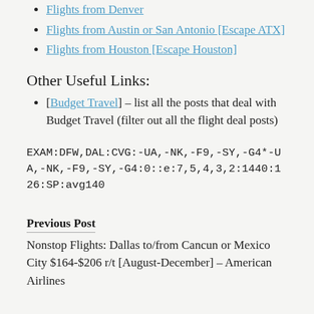Flights from Denver
Flights from Austin or San Antonio [Escape ATX]
Flights from Houston [Escape Houston]
Other Useful Links:
[Budget Travel] – list all the posts that deal with Budget Travel (filter out all the flight deal posts)
EXAM:DFW,DAL:CVG:-UA,-NK,-F9,-SY,-G4*-UA,-NK,-F9,-SY,-G4:0::e:7,5,4,3,2:1440:126:SP:avg140
Previous Post
Nonstop Flights: Dallas to/from Cancun or Mexico City $164-$206 r/t [August-December] – American Airlines